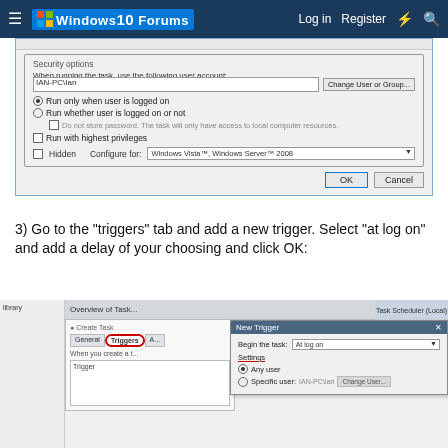Windows 10 Forums — Log in  Register
[Figure (screenshot): Windows Task Scheduler dialog showing Security options section with user account IAN-PC\Ian, radio buttons for 'Run only when user is logged on' (selected) and 'Run whether user is logged on or not', checkbox for 'Run with highest privileges', Hidden checkbox and Configure for dropdown showing 'Windows Vista™, Windows Server™ 2008', and OK/Cancel buttons.]
3) Go to the "triggers" tab and add a new trigger. Select "at log on" and add a delay of your choosing and click OK:
[Figure (screenshot): Windows Task Scheduler showing 'New Trigger' dialog with 'Begin the task: At log on' dropdown selected, Settings section with 'Any user' radio selected and 'Specific user: IAN-PC\Ian' with Change User button. The Triggers tab is circled in red in the Create Task pane.]